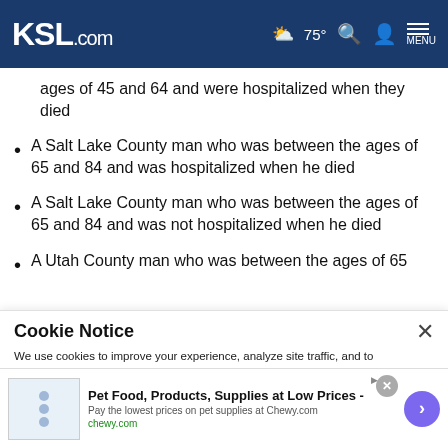KSL.com — 75° weather, search, account, menu
ages of 45 and 64 and were hospitalized when they died
A Salt Lake County man who was between the ages of 65 and 84 and was hospitalized when he died
A Salt Lake County man who was between the ages of 65 and 84 and was not hospitalized when he died
A Utah County man who was between the ages of 65 and 84 and was hospitalized when he died
Cookie Notice — We use cookies to improve your experience, analyze site traffic, and to personalize content and ads. By continuing to use our site, you consent to our use of cookies. Please visit our Terms of Use and Privacy Policy for more information
Pet Food, Products, Supplies at Low Prices - Pay the lowest prices on pet supplies at Chewy.com — chewy.com